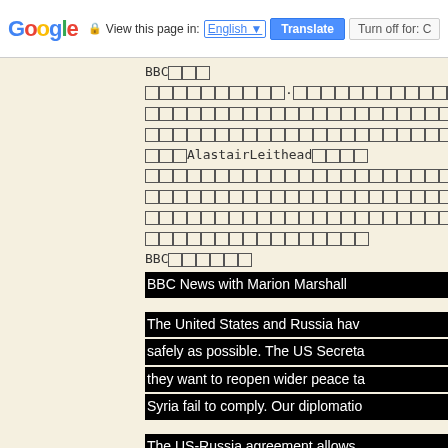Google | View this page in: English | Translate | Turn off for: C
BBC□□□
□□□□□□□□□□·□□□□□□□□□□□□□□□□□
□□□□□□□□□□□□□□□□□□□□□□□□□□□□□□
□□□□□□□□□□□□□□□□□□□□□□□□□□□□□□
□□□AlastairLeithead□□□□
□□□□□□□□□□□□□□□□□□□□□□□□□□□□□□
□□□□□□□□□□□□□□□□□□□□□□
□□□□□□□□□□□□□□□□□□□□□□□□□□□□□□
□□□□□□□□□□□□□□□□
BBC□□□□□□
BBC News with Marion Marshall
The United States and Russia have [agreed to remove Syria's chemical weapons] safely as possible. The US Secretary of State John Kerry says they want to reopen wider peace talks but says there will be consequences if Syria fail to comply. Our diplomatic correspondent reports.
The US-Russia agreement allows [for] Syria's chemical weapon stockpile. Intern[ational]